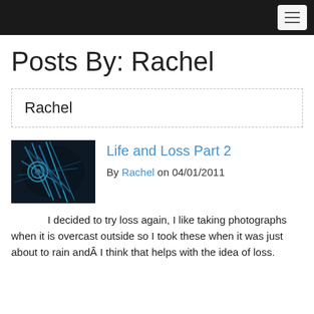Posts By: Rachel
Rachel
[Figure (photo): A dark photograph showing blue network cables or similar tangled wires against a dark background]
Life and Loss Part 2
By Rachel on 04/01/2011
I decided to try loss again, I like taking photographs when it is overcast outside so I took these when it was just about to rain andÂ I think that helps with the idea of loss.